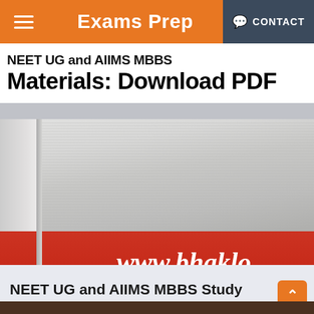Exams Prep | CONTACT
[Figure (photo): Hero image showing stacked books with red cover, white pages fanned out, and watermark text 'www.bhaklo' overlaid. Above the photo is a white strip with bold black text partially visible: 'NEET UG and AIIMS MBBS Study Materials: Download PDF']
NEET UG and AIIMS MBBS Study Materials PDF: Download Now
Thursday, May 09, 2019